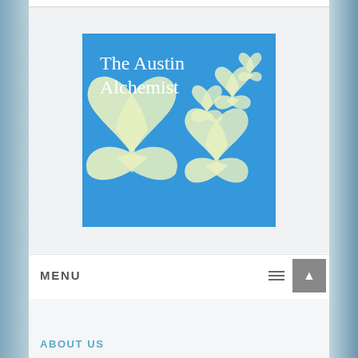[Figure (logo): The Austin Alchemist logo: blue square background with white serif text 'The Austin Alchemist' and cream/white butterfly silhouettes of various sizes]
MENU
ABOUT US